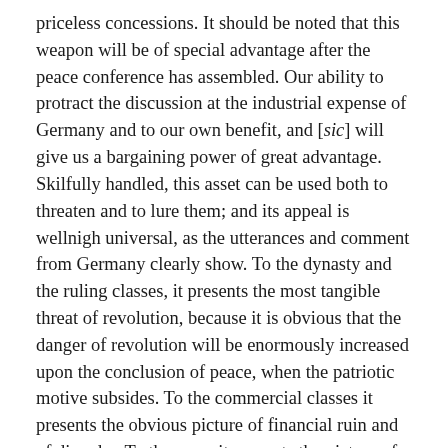priceless concessions. It should be noted that this weapon will be of special advantage after the peace conference has assembled. Our ability to protract the discussion at the industrial expense of Germany and to our own benefit, and [sic] will give us a bargaining power of great advantage. Skilfully handled, this asset can be used both to threaten and to lure them; and its appeal is wellnigh universal, as the utterances and comment from Germany clearly show. To the dynasty and the ruling classes, it presents the most tangible threat of revolution, because it is obvious that the danger of revolution will be enormously increased upon the conclusion of peace, when the patriotic motive subsides. To the commercial classes it presents the obvious picture of financial ruin and of disorder. To the army it presents the picture of a long period following the conclusion of the war in which government will not dare to demobilize rapidly. To the poorer classes generally it presents the picture of a long period after the war in which the present hardships will continue.
II. Our assets in Austria-Hungary.
In Austria-Hungary we have a number of assets which may seem contradictory at first, but which can all be employed at the same